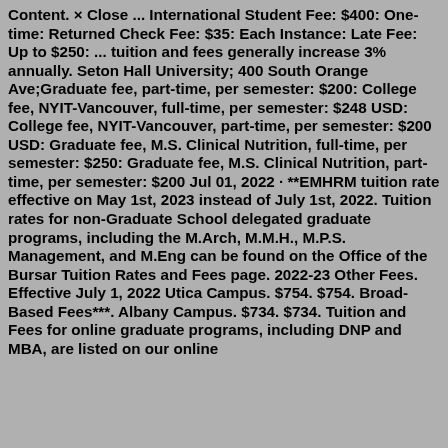Content. × Close ... International Student Fee: $400: One-time: Returned Check Fee: $35: Each Instance: Late Fee: Up to $250: ... tuition and fees generally increase 3% annually. Seton Hall University; 400 South Orange Ave;Graduate fee, part-time, per semester: $200: College fee, NYIT-Vancouver, full-time, per semester: $248 USD: College fee, NYIT-Vancouver, part-time, per semester: $200 USD: Graduate fee, M.S. Clinical Nutrition, full-time, per semester: $250: Graduate fee, M.S. Clinical Nutrition, part-time, per semester: $200 Jul 01, 2022 · **EMHRM tuition rate effective on May 1st, 2023 instead of July 1st, 2022. Tuition rates for non-Graduate School delegated graduate programs, including the M.Arch, M.M.H., M.P.S. Management, and M.Eng can be found on the Office of the Bursar Tuition Rates and Fees page. 2022-23 Other Fees. Effective July 1, 2022 Utica Campus. $754. $754. Broad-Based Fees***. Albany Campus. $734. $734. Tuition and Fees for online graduate programs, including DNP and MBA, are listed on our online